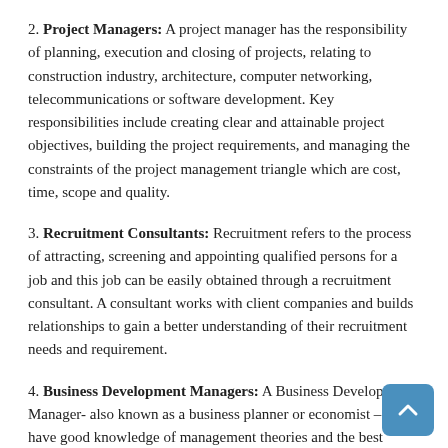2. Project Managers: A project manager has the responsibility of planning, execution and closing of projects, relating to construction industry, architecture, computer networking, telecommunications or software development. Key responsibilities include creating clear and attainable project objectives, building the project requirements, and managing the constraints of the project management triangle which are cost, time, scope and quality.
3. Recruitment Consultants: Recruitment refers to the process of attracting, screening and appointing qualified persons for a job and this job can be easily obtained through a recruitment consultant. A consultant works with client companies and builds relationships to gain a better understanding of their recruitment needs and requirement.
4. Business Development Managers: A Business Development Manager- also known as a business planner or economist – must have good knowledge of management theories and the best practices for the organization's success. The Business development manager runs a business on a day to day basis and undertakes